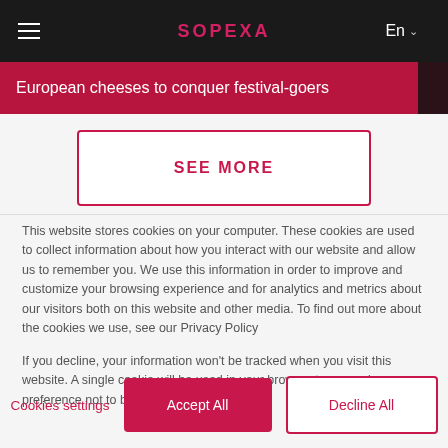SOPEXA
European cheeses to conquer festival-goers
SEE MORE
This website stores cookies on your computer. These cookies are used to collect information about how you interact with our website and allow us to remember you. We use this information in order to improve and customize your browsing experience and for analytics and metrics about our visitors both on this website and other media. To find out more about the cookies we use, see our Privacy Policy
If you decline, your information won't be tracked when you visit this website. A single cookie will be used in your browser to remember your preference not to be tracked.
Cookies settings   Accept All   Decline All